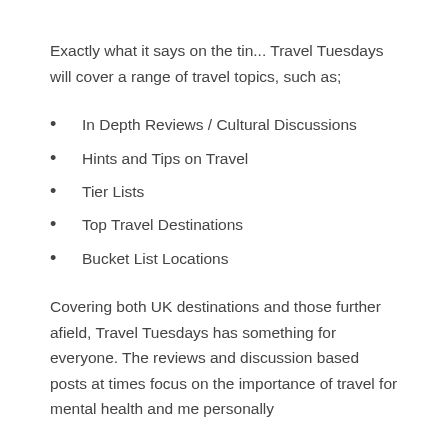Exactly what it says on the tin... Travel Tuesdays will cover a range of travel topics, such as;
In Depth Reviews / Cultural Discussions
Hints and Tips on Travel
Tier Lists
Top Travel Destinations
Bucket List Locations
Covering both UK destinations and those further afield, Travel Tuesdays has something for everyone. The reviews and discussion based posts at times focus on the importance of travel for mental health and me personally